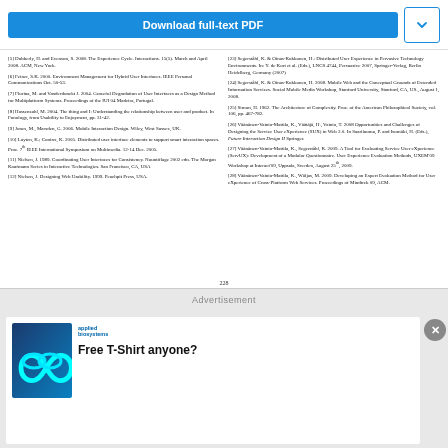[Figure (screenshot): Download full-text PDF button and chevron dropdown button]
[5] Dubberly, H. and Evenson, S. 2008. The Experience Cycle. Interactions. 15(5). March and April 2008. ACM, New York.
[6] Feiner, S.K. 2000. Environment Management for Hybrid User Interfaces. IEEE Personal Communications Oct. 50-53.
[7] Florina, M. and Vanderdonckt J. 2004. Graceful Degradation of User Interfaces as a Design Method for Multiplatform Systems. Proceedings of the IUI 04 Madeira, Portugal.
[8] Hassenzahl, M. 2004. The thing and I: Understanding the relationship between user and product. In Funology, from Usability to Enjoyment, pp. 31-42.
[9] Jones, M., Marsden, G. 2006. Mobile Interaction Design. Wiley, West Sussex, UK.
[10] Luyten, K.; Coninx, K. 2005. Distributed user interface elements to support smart interaction spaces. Proc. 7th IEEE International Symposium on Multimedia. 12-14 Dec. 2005.
[11] Nielsen, J. 1989. Coordinating User Interfaces for Consistency. Nountiflage 2002 edn. The Morgan Kaufmann Series in Interactive Technologies. San Francisco, CA, USA
[12] Nielsen, J. Designing Web Usability. 1999. Peachpit Press, USA.
[23] Segerståhl, K. & Oinas-Kukkonen, H.: Distributed User Experience in Pervasive Technology Environments. In: Y. de Kort et al. (Eds.), LNCS 4744, Persuasive 2007, Springer-Verlag, Berlin Heidelberg, Germany (2007)
[24] Segerståhl, K. & Oinas-Kukkonen, H. 2008. Mobile Web and the Conceptual Grounds of Extended Information Services. Social Mobile Media Workshop, Stanford University, Stanford, CA, US., August 1, 2008.
[25] Simon, H. 1962. The Architecture of Complexity. Proc. of the American Philosophical Society, vol. 106, pp. 467-782.
[26] Väänänen-Vainio-Mattila, K., Väätäjä, H., Vainio, T. 2008 Opportunities and Challenges of Designing the Service User eXperience (SUX) in Web 2.0. In Saariluoma, P. and Isomäki, H. (Eds.), Future Interaction Design II Springer.
[27] Väänänen-Vainio-Mattila, K., Segerståhl, K. 2009. A Tool for Evaluating Service User eXperience (ServUX): Development of a Modular Questionnaire. User Experience Evaluation Methods, UXEM'09 Workshop at Interact'09, Uppsala, Sweden, August 25th, 2009.
[28] Väänänen-Vainio-Mattila, K., Wäljas, M. 2009. Developing an Expert Evaluation Method for User eXperience of Cross-Platform Web Services. Proceedings of Mindtrek 09, ACM.
228
Advertisement
[Figure (illustration): Applied Biosystems logo with infinity symbol on blue background, with text 'Free T-Shirt anyone?']